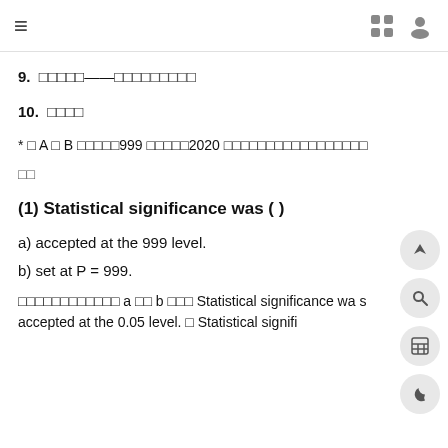≡  [grid icon] [user icon]
9. □□□□□——□□□□□□□□□
10. □□□□
* □ A □ B □□□□□999 □□□□□2020 □□□□□□□□□□□□□□□□□
□□
(1) Statistical significance was ( )
a) accepted at the 999 level.
b) set at P = 999.
□□□□□□□□□□□□ a □□ b □□□ Statistical significance was accepted at the 0.05 level. □ Statistical signifi